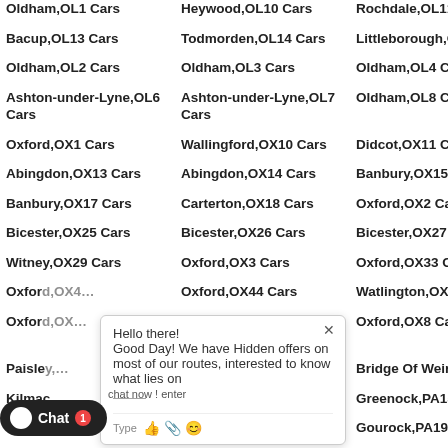Oldham,OL1 Cars
Heywood,OL10 Cars
Rochdale,OL11 Cars
Ro[cut]
Bacup,OL13 Cars
Todmorden,OL14 Cars
Littleborough,OL15 Cars
Ro[cut]
Oldham,OL2 Cars
Oldham,OL3 Cars
Oldham,OL4 Cars
As[cut] Ca[cut]
Ashton-under-Lyne,OL6 Cars
Ashton-under-Lyne,OL7 Cars
Oldham,OL8 Cars
Ol[cut]
Oxford,OX1 Cars
Wallingford,OX10 Cars
Didcot,OX11 Cars
Wa[cut]
Abingdon,OX13 Cars
Abingdon,OX14 Cars
Banbury,OX15 Cars
Ba[cut]
Banbury,OX17 Cars
Carterton,OX18 Cars
Oxford,OX2 Cars
Wo[cut]
Bicester,OX25 Cars
Bicester,OX26 Cars
Bicester,OX27 Cars
Wi[cut]
Witney,OX29 Cars
Oxford,OX3 Cars
Oxford,OX33 Cars
Ch[cut]
Oxford,OX4[cut]
Oxford,OX44 Cars
Watlington,OX49 Cars
Ki[cut]
Oxford,OX[cut]
Chipping Norton,OX7 Cars
Oxford,OX8 Cars
Th[cut]
Paisley,[cut]
Johnstone,PA10 Cars
Bridge Of Weir,PA11 Cars
Lo[cut]
Kilmac[cut]
Port Glasgow,PA14 Cars
Greenock,PA15 Cars
Gr[cut]
S[cut],PA17 Cars
Wemyss Bay,PA18 Cars
Gourock,PA19 Cars
Pa[cut]
Tighnabruaich,PA21
Isle Of Bute,PA20 Cars
Colintraive,PA22 Cars